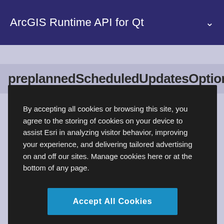ArcGIS Runtime API for Qt
preplannedScheduledUpdatesOptionChan
By accepting all cookies or browsing this site, you agree to the storing of cookies on your device to assist Esri in analyzing visitor behavior, improving your experience, and delivering tailored advertising on and off our sites. Manage cookies here or at the bottom of any page.
Accept All Cookies
Cookies Settings